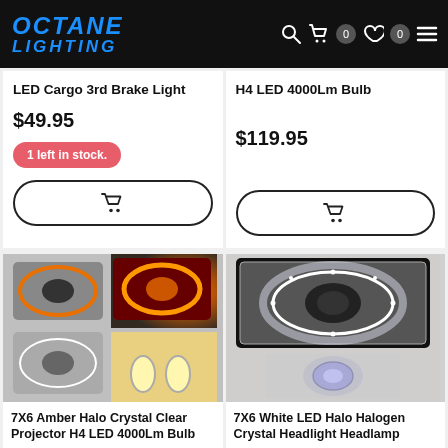Octane Lighting
LED Cargo 3rd Brake Light
$49.95
1 left in stock.
H4 LED 4000Lm Bulb
$119.95
[Figure (photo): 7X6 Amber Halo Crystal Clear Projector H4 LED 4000Lm Bulb headlight product photo showing amber halo ring illuminated]
7X6 Amber Halo Crystal Clear Projector H4 LED 4000Lm Bulb
[Figure (photo): 7X6 White LED Halo Halogen Crystal Headlight Headlamp product photo with white halo and halogen bulb]
7X6 White LED Halo Halogen Crystal Headlight Headlamp